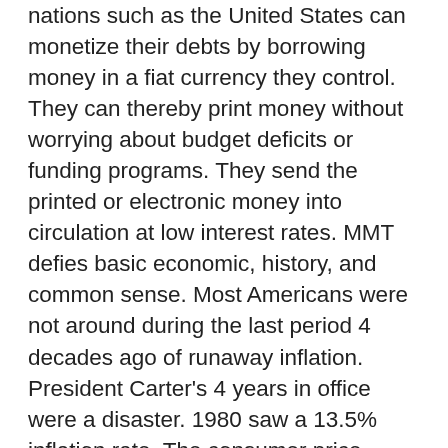nations such as the United States can monetize their debts by borrowing money in a fiat currency they control. They can thereby print money without worrying about budget deficits or funding programs. They send the printed or electronic money into circulation at low interest rates. MMT defies basic economic, history, and common sense. Most Americans were not around during the last period 4 decades ago of runaway inflation. President Carter's 4 years in office were a disaster. 1980 saw a 13.5% inflation rate. The consumer price index almost doubled in 4 years. Banks in 1980 charged a prime interest rate of 21%. Short term interest rates were 18% in March. The Fed's prime rate reached14%. Mortgage lending collapsed. Today's mortgage rates are inching back up to 3%, a far cry we faced in May 1980 in buying a house. We were quoted 15½% with 4 points. Fortunately the bank lowered it to 14% and 1 point the day before closing. We refinanced later. Fed Chair Paul Volcker and President Reagan tamed the inflation monster 4 decades ago, but the Biden Administration is risking unleashing it onto the American people. The lessons of 40 years ago have been forgotten or more likely never learned by today's leftists. The Fed does not control interest rates.